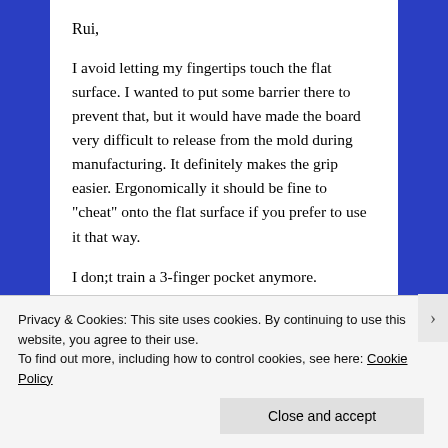Rui,
I avoid letting my fingertips touch the flat surface. I wanted to put some barrier there to prevent that, but it would have made the board very difficult to release from the mold during manufacturing. It definitely makes the grip easier. Ergonomically it should be fine to “cheat” onto the flat surface if you prefer to use it that way.
I don;t train a 3-finger pocket anymore. However, I intended the outer pocket to be fore IMR, and the inner pocket to be for MRP (the inside part of each Edge Rail can also be used for MRP...
Privacy & Cookies: This site uses cookies. By continuing to use this website, you agree to their use.
To find out more, including how to control cookies, see here: Cookie Policy
Close and accept